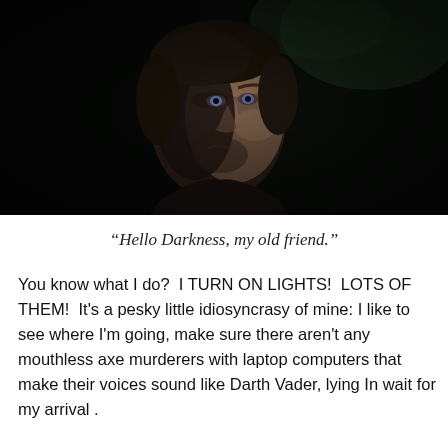[Figure (photo): Dark, moody portrait photograph of a man with short hair and stubble, lit dramatically from one side against a very dark background with hints of dark green foliage.]
“Hello Darkness, my old friend.”
You know what I do?  I TURN ON LIGHTS!  LOTS OF THEM!  It’s a pesky little idiosyncrasy of mine: I like to see where I’m going, make sure there aren’t any mouthless axe murderers with laptop computers that make their voices sound like Darth Vader, lying In wait for my arrival .